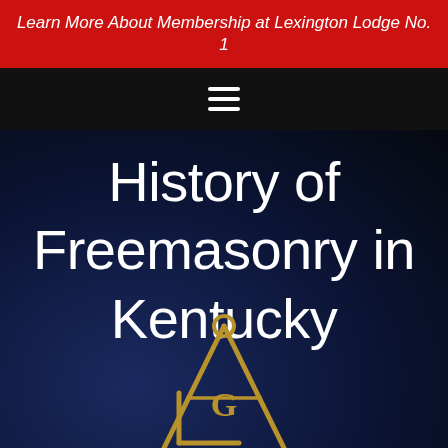Learn More About Membership at Lexington Lodge No. 1
[Figure (other): Hamburger/navigation menu icon (three horizontal white lines) on black bar]
History of Freemasonry in Kentucky
[Figure (logo): Masonic square and compass symbol in gold/brass color partially visible at bottom of page]